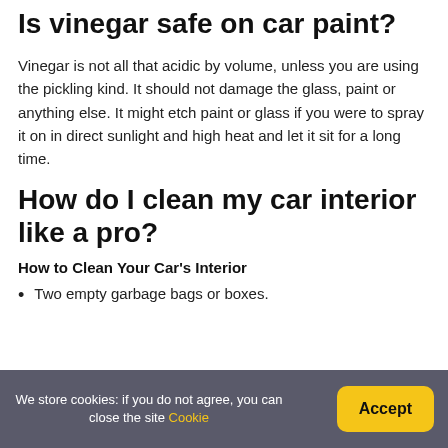Is vinegar safe on car paint?
Vinegar is not all that acidic by volume, unless you are using the pickling kind. It should not damage the glass, paint or anything else. It might etch paint or glass if you were to spray it on in direct sunlight and high heat and let it sit for a long time.
How do I clean my car interior like a pro?
How to Clean Your Car's Interior
Two empty garbage bags or boxes.
We store cookies: if you do not agree, you can close the site Cookie